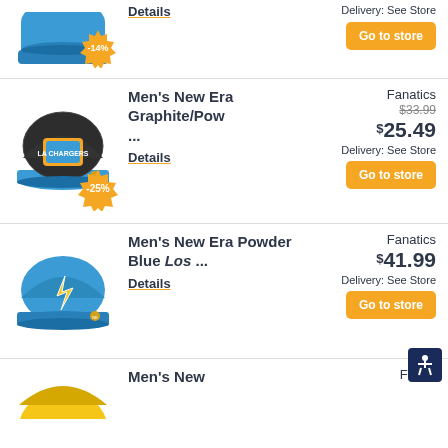[Figure (photo): Partial view of a sports cap with -14% discount badge, top of page cut off]
Delivery: See Store
Details
Go to store
[Figure (photo): Los Angeles Chargers Men's New Era Graphite/Powder Blue fitted cap with -25% discount badge]
Men's New Era Graphite/Pow ...
Fanatics
$33.99 (crossed out), $25.49
Delivery: See Store
Details
Go to store
[Figure (photo): Los Angeles Chargers Men's New Era Powder Blue fitted cap, no discount badge]
Men's New Era Powder Blue Los ...
Fanatics
$41.99
Delivery: See Store
Details
Go to store
[Figure (photo): Partial view of another sports cap at bottom of page, color appears gold/yellow]
Men's New
Fanati...